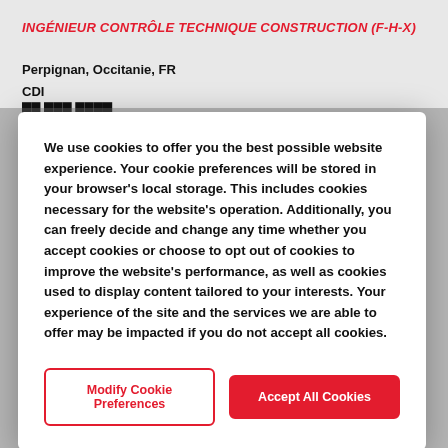INGÉNIEUR CONTRÔLE TECHNIQUE CONSTRUCTION (F-H-X)
Perpignan, Occitanie, FR
CDI
We use cookies to offer you the best possible website experience. Your cookie preferences will be stored in your browser's local storage. This includes cookies necessary for the website's operation. Additionally, you can freely decide and change any time whether you accept cookies or choose to opt out of cookies to improve the website's performance, as well as cookies used to display content tailored to your interests. Your experience of the site and the services we are able to offer may be impacted if you do not accept all cookies.
Modify Cookie Preferences
Accept All Cookies
Bordeaux, Nouvelle Aquitaine, FR